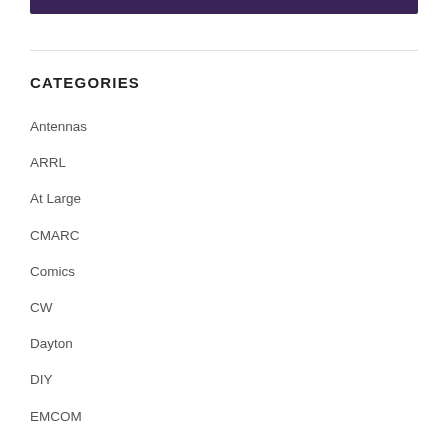[Figure (other): Dark purple/indigo banner bar at the top of the page]
CATEGORIES
Antennas
ARRL
At Large
CMARC
Comics
CW
Dayton
DIY
EMCOM